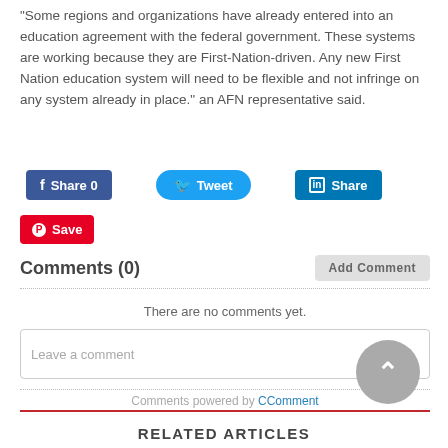“Some regions and organizations have already entered into an education agreement with the federal government. These systems are working because they are First-Nation-driven. Any new First Nation education system will need to be flexible and not infringe on any system already in place.” an AFN representative said.
[Figure (screenshot): Social sharing buttons: Facebook Share 0, Twitter Tweet, LinkedIn Share, Pinterest Save]
Comments (0)
There are no comments yet.
Leave a comment
Comments powered by CComment
RELATED ARTICLES